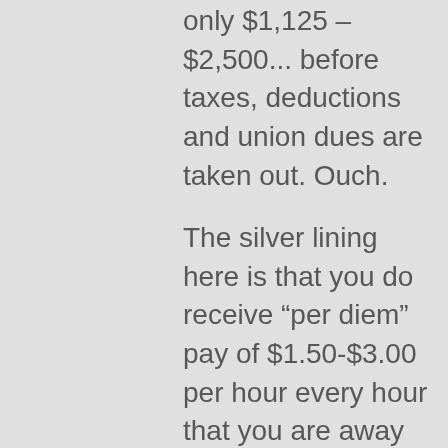only $1,125 – $2,500... before taxes, deductions and union dues are taken out. Ouch.

The silver lining here is that you do receive “per diem” pay of $1.50-$3.00 per hour every hour that you are away from base, meaning from the time you check in for a multiple day trip to the time you arrive back at base. This